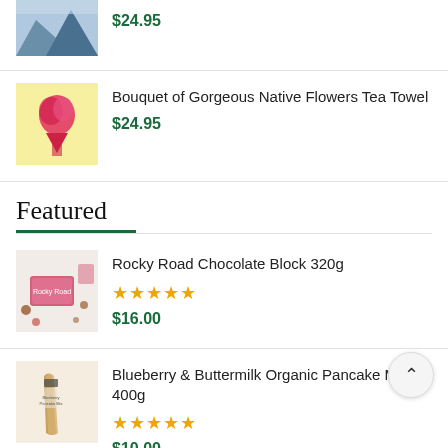[Figure (photo): Partial product image of a mountain landscape tea towel]
$24.95
[Figure (photo): Bouquet of Gorgeous Native Flowers Tea Towel product image]
Bouquet of Gorgeous Native Flowers Tea Towel
$24.95
Featured
[Figure (photo): Rocky Road Chocolate Block 320g product image]
Rocky Road Chocolate Block 320g
★★★★★
$16.00
[Figure (photo): Blueberry & Buttermilk Organic Pancake Mix 400g product image]
Blueberry & Buttermilk Organic Pancake Mix 400g
★★★★★
$10.00
[Figure (photo): Create Your Hamper product image (partial)]
Create Your Hamper